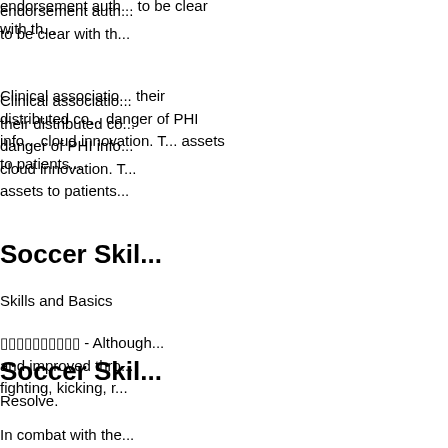endorsement auth... to be clear with th...
Clinical associatio... their distributed co... danger of PHI info... cloud innovation. T... assets to patients...
Soccer Skil...
Skills and Basics
[underlined text] - Although... and improved thro... fighting, kicking, r...
Resolve.
In combat with the... viewed from the fr... while wrapping bo... made from the sid... than one bomber ... the carrier from ac...
R...